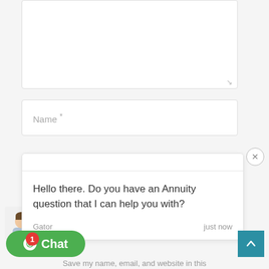[Figure (screenshot): Textarea form field (empty, with resize handle at bottom-right)]
[Figure (screenshot): Name * text input field with placeholder label]
[Figure (screenshot): Chat popup widget showing a message from Gator: 'Hello there. Do you have an Annuity question that I can help you with?' with timestamp 'just now', an avatar icon, and a close (X) button. Below is a green Chat button with badge '1' and a teal scroll-up arrow button.]
Save my name, email, and website in this